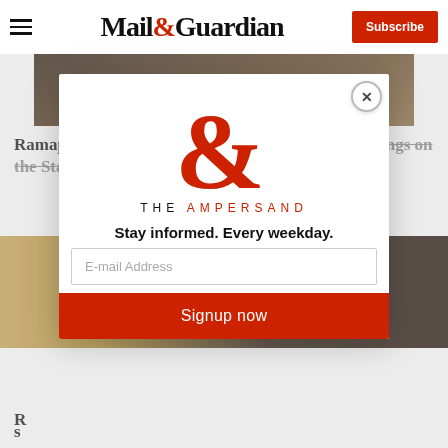Mail&Guardian | Subscribe
[Figure (photo): Dark photograph showing a governmental seal/podium, cropped at top of page]
Ramaphosa tells parliament to act on Zondo's findings on the State Security Agency
[Figure (other): Modal popup overlay: The Ampersand newsletter signup for Mail & Guardian. Large red ampersand logo with 'THE AMPERSAND' text. Contains 'Stay informed. Every weekday.' tagline, email address input field, and 'Signup now' button. Close (X) button in top right corner.]
Stay informed. Every weekday.
E-mail Address
Signup now
R